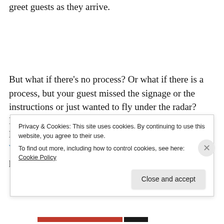greet guests as they arrive.
But what if there's no process? Or what if there is a process, but your guest missed the signage or the instructions or just wanted to fly under the radar? Here are six things that might help (and yes, these are likely cobbled together from the thoughts of Mark Waltz, Nelson Searcy, and others. This same non-alert person also failed
Privacy & Cookies: This site uses cookies. By continuing to use this website, you agree to their use.
To find out more, including how to control cookies, see here: Cookie Policy
Close and accept